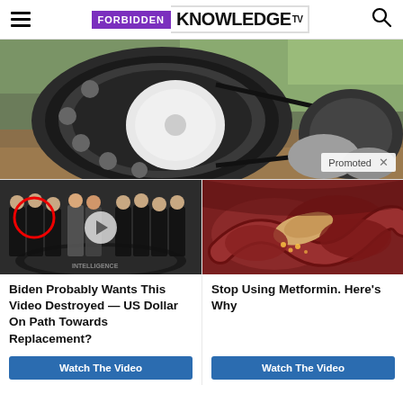FORBIDDEN KNOWLEDGE TV
[Figure (photo): Close-up photo of a mechanical bearing/pulley with metal and white components, outdoors. Shows a 'Promoted' label with an X close button at bottom right.]
[Figure (photo): Left sponsored ad thumbnail: group photo at CIA headquarters with a person circled in red, video play button overlay.]
Biden Probably Wants This Video Destroyed — US Dollar On Path Towards Replacement?
Watch The Video
[Figure (photo): Right sponsored ad thumbnail: medical illustration of intestinal organs/digestive system close-up.]
Stop Using Metformin. Here's Why
Watch The Video